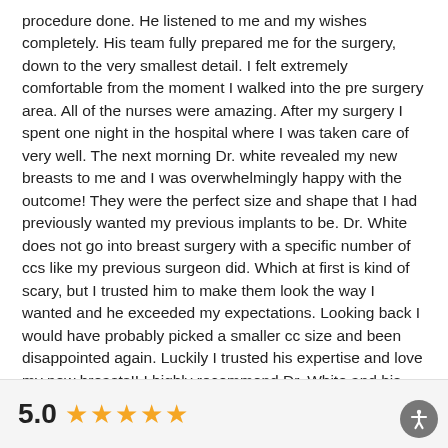procedure done. He listened to me and my wishes completely. His team fully prepared me for the surgery, down to the very smallest detail. I felt extremely comfortable from the moment I walked into the pre surgery area. All of the nurses were amazing. After my surgery I spent one night in the hospital where I was taken care of very well. The next morning Dr. white revealed my new breasts to me and I was overwhelmingly happy with the outcome! They were the perfect size and shape that I had previously wanted my previous implants to be. Dr. White does not go into breast surgery with a specific number of ccs like my previous surgeon did. Which at first is kind of scary, but I trusted him to make them look the way I wanted and he exceeded my expectations. Looking back I would have probably picked a smaller cc size and been disappointed again. Luckily I trusted his expertise and love my new breasts!! I highly recommend Dr. White and his wonderful staff! He listens and most of all he is passionate about what he does. Most thorough doctor I've had the opportunity to meet!"
5.0 ★★★★★